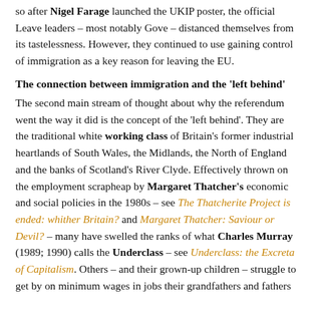so after Nigel Farage launched the UKIP poster, the official Leave leaders – most notably Gove – distanced themselves from its tastelessness. However, they continued to use gaining control of immigration as a key reason for leaving the EU.
The connection between immigration and the 'left behind'
The second main stream of thought about why the referendum went the way it did is the concept of the 'left behind'. They are the traditional white working class of Britain's former industrial heartlands of South Wales, the Midlands, the North of England and the banks of Scotland's River Clyde. Effectively thrown on the employment scrapheap by Margaret Thatcher's economic and social policies in the 1980s – see The Thatcherite Project is ended: whither Britain? and Margaret Thatcher: Saviour or Devil? – many have swelled the ranks of what Charles Murray (1989; 1990) calls the Underclass – see Underclass: the Excreta of Capitalism. Others – and their grown-up children – struggle to get by on minimum wages in jobs their grandfathers and fathers